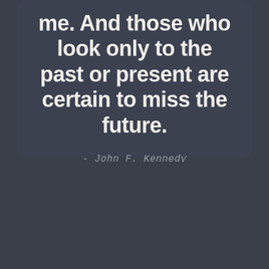me. And those who look only to the past or present are certain to miss the future.
- John F. Kennedy